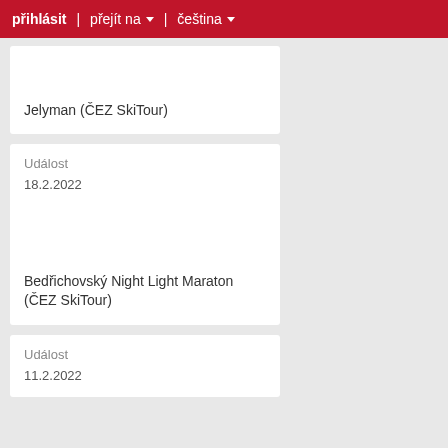přihlásit | přejít na ▾ | čeština ▾
Jelyman (ČEZ SkiTour)
Událost
18.2.2022
Bedřichovský Night Light Maraton (ČEZ SkiTour)
Událost
11.2.2022